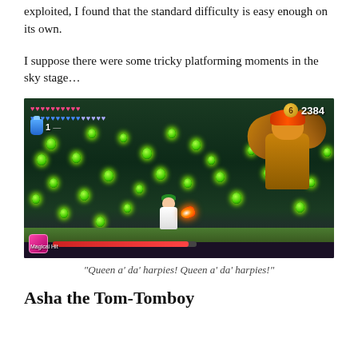exploited, I found that the standard difficulty is easy enough on its own.
I suppose there were some tricky platforming moments in the sky stage...
[Figure (screenshot): Video game screenshot showing a platformer game with a small character facing a large boss enemy with wings, multiple green glowing orbs scattered across a dark forest/cave background, HUD showing hearts and score of 2384, boss health bar at the bottom.]
"Queen a' da' harpies! Queen a' da' harpies!"
Asha the Tom-Tomboy